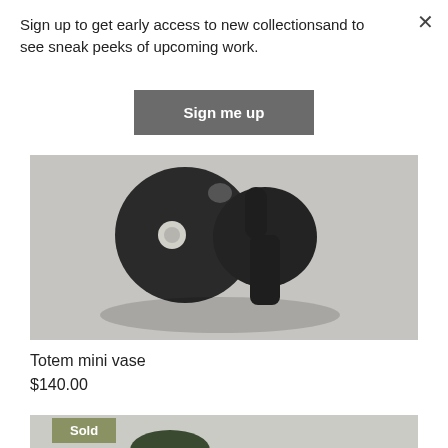Sign up to get early access to new collectionsand to see sneak peeks of upcoming work.
Sign me up
[Figure (photo): Close-up photo of a dark/black ceramic or clay sculptural mini vase (Totem mini vase) on a light grey surface, showing abstract rounded forms with a small tube or opening at top.]
Totem mini vase
$140.00
[Figure (photo): Bottom portion of a product image with a 'Sold' badge in olive/sage green, showing a partially visible dark green ceramic or similar object on a light background.]